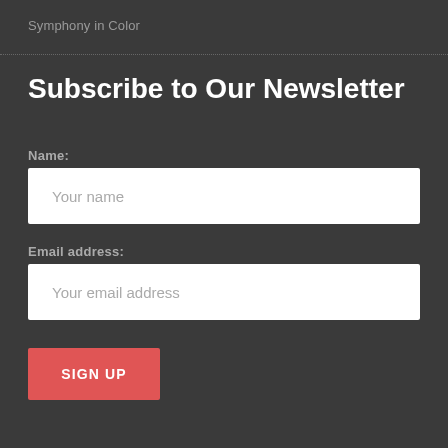Symphony in Color
Subscribe to Our Newsletter
Name:
Your name
Email address:
Your email address
SIGN UP